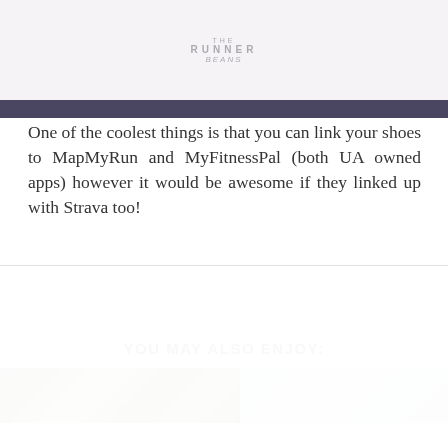THE RUNNER BEANS
One of the coolest things is that you can link your shoes to MapMyRun and MyFitnessPal (both UA owned apps) however it would be awesome if they linked up with Strava too!
YOU MAY ALSO ENJOY:
[Figure (photo): Two photo thumbnails side by side: left shows people outdoors in green setting, right shows a lighter blurred outdoor scene]
We use cookies on our website to give you the most relevant experience by remembering your preferences and repeat visits. By clicking "Accept All", you consent to the use of ALL the cookies. However, you may visit "Cookie Settings" to provide a controlled consent.